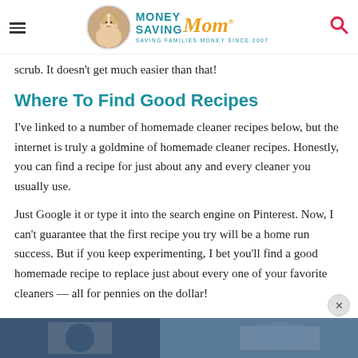Money Saving Mom® — SAVING FAMILIES MONEY SINCE 2007
scrub. It doesn't get much easier than that!
Where To Find Good Recipes
I've linked to a number of homemade cleaner recipes below, but the internet is truly a goldmine of homemade cleaner recipes. Honestly, you can find a recipe for just about any and every cleaner you usually use.
Just Google it or type it into the search engine on Pinterest. Now, I can't guarantee that the first recipe you try will be a home run success. But if you keep experimenting, I bet you'll find a good homemade recipe to replace just about every one of your favorite cleaners — all for pennies on the dollar!
[Figure (photo): Partial photo visible at bottom of page, appears to be a dark-toned image]